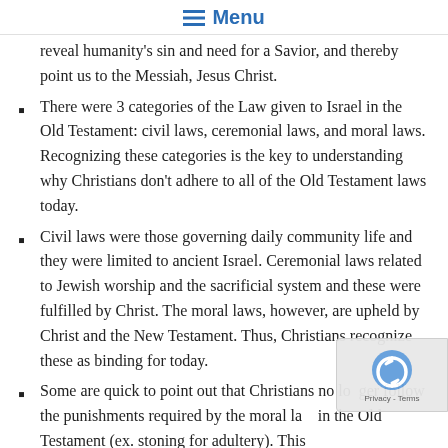Menu
reveal humanity's sin and need for a Savior, and thereby point us to the Messiah, Jesus Christ.
There were 3 categories of the Law given to Israel in the Old Testament: civil laws, ceremonial laws, and moral laws. Recognizing these categories is the key to understanding why Christians don't adhere to all of the Old Testament laws today.
Civil laws were those governing daily community life and they were limited to ancient Israel. Ceremonial laws related to Jewish worship and the sacrificial system and these were fulfilled by Christ. The moral laws, however, are upheld by Christ and the New Testament. Thus, Christians recognize these as binding for today.
Some are quick to point out that Christians no longer follow the punishments required by the moral law in the Old Testament (ex. stoning for adultery). This